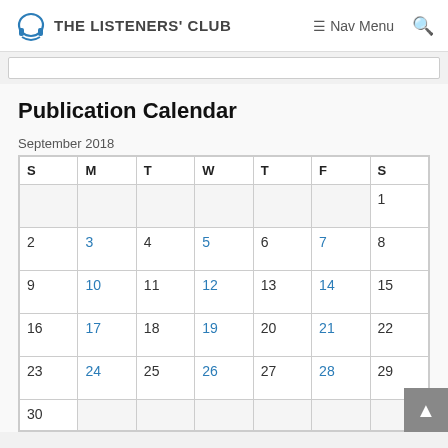THE LISTENERS' CLUB  Nav Menu
Publication Calendar
September 2018
| S | M | T | W | T | F | S |
| --- | --- | --- | --- | --- | --- | --- |
|  |  |  |  |  |  | 1 |
| 2 | 3 | 4 | 5 | 6 | 7 | 8 |
| 9 | 10 | 11 | 12 | 13 | 14 | 15 |
| 16 | 17 | 18 | 19 | 20 | 21 | 22 |
| 23 | 24 | 25 | 26 | 27 | 28 | 29 |
| 30 |  |  |  |  |  |  |